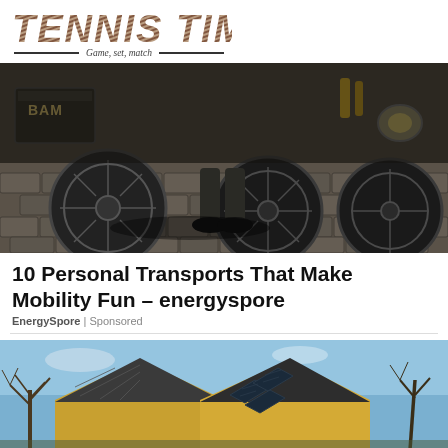TENNIS TIMES — Game, set, match
[Figure (photo): Close-up photo of bicycle/scooter wheels on cobblestone street with a person standing between them]
10 Personal Transports That Make Mobility Fun – energyspore
EnergySpore | Sponsored
[Figure (photo): Photo of a wooden house rooftop with solar panels against a blue sky with bare trees]